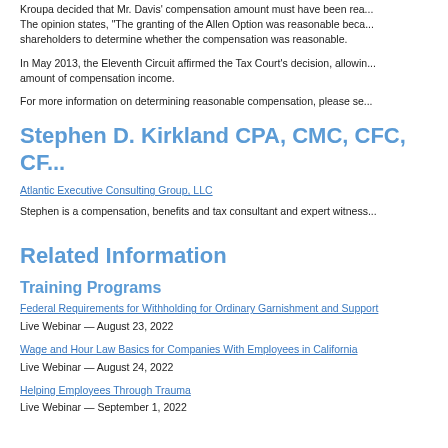Kroupa decided that Mr. Davis' compensation amount must have been rea... The opinion states, "The granting of the Allen Option was reasonable beca... shareholders to determine whether the compensation was reasonable.
In May 2013, the Eleventh Circuit affirmed the Tax Court's decision, allowin... amount of compensation income.
For more information on determining reasonable compensation, please se...
Stephen D. Kirkland CPA, CMC, CFC, CF...
Atlantic Executive Consulting Group, LLC
Stephen is a compensation, benefits and tax consultant and expert witness...
Related Information
Training Programs
Federal Requirements for Withholding for Ordinary Garnishment and Support
Live Webinar — August 23, 2022
Wage and Hour Law Basics for Companies With Employees in California
Live Webinar — August 24, 2022
Helping Employees Through Trauma
Live Webinar — September 1, 2022